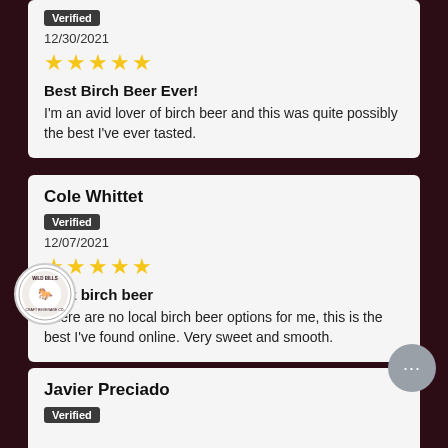Verified
12/30/2021
★★★★★
Best Birch Beer Ever!
I'm an avid lover of birch beer and this was quite possibly the best I've ever tasted.
Cole Whittet
Verified
12/07/2021
★★★★★
Best birch beer
There are no local birch beer options for me, this is the best I've found online. Very sweet and smooth.
Javier Preciado
Verified
Rewards